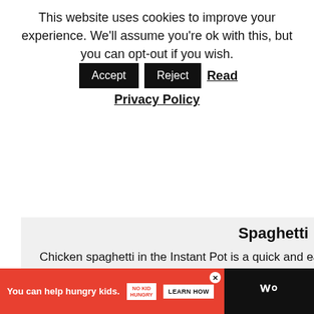This website uses cookies to improve your experience. We'll assume you're ok with this, but you can opt-out if you wish. [Accept] [Reject] Read Privacy Policy
Spaghetti
Chicken spaghetti in the Instant Pot is a quick and easy recipe. This one-pot chicken and pasta recipe is comforting and delicious.
Check out this recipe
WHAT'S NEXT → 20 Best Fall Salad Recipes
You can help hungry kids. NO KID HUNGRY LEARN HOW